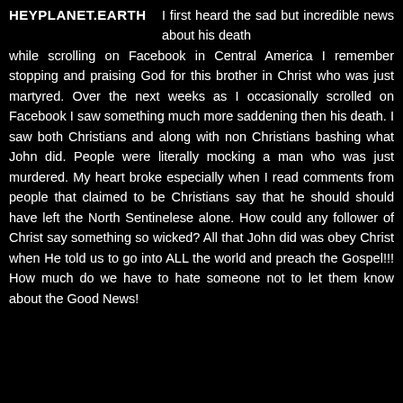HEYPLANET.EARTH
I first heard the sad but incredible news about his death while scrolling on Facebook in Central America I remember stopping and praising God for this brother in Christ who was just martyred. Over the next weeks as I occasionally scrolled on Facebook I saw something much more saddening then his death. I saw both Christians and along with non Christians bashing what John did. People were literally mocking a man who was just murdered. My heart broke especially when I read comments from people that claimed to be Christians say that he should should have left the North Sentinelese alone. How could any follower of Christ say something so wicked? All that John did was obey Christ when He told us to go into ALL the world and preach the Gospel!!! How much do we have to hate someone not to let them know about the Good News!